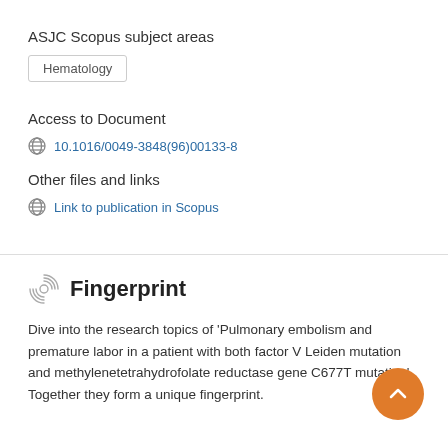ASJC Scopus subject areas
Hematology
Access to Document
10.1016/0049-3848(96)00133-8
Other files and links
Link to publication in Scopus
Fingerprint
Dive into the research topics of 'Pulmonary embolism and premature labor in a patient with both factor V Leiden mutation and methylenetetrahydrofolate reductase gene C677T mutation'. Together they form a unique fingerprint.